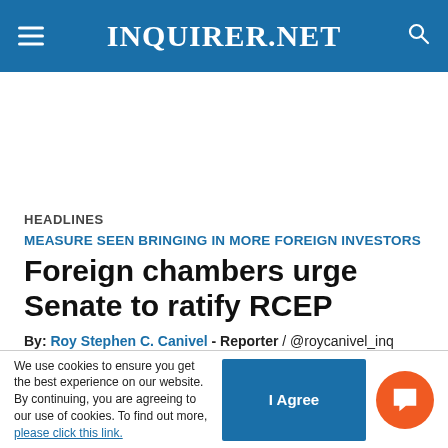INQUIRER.NET
HEADLINES
MEASURE SEEN BRINGING IN MORE FOREIGN INVESTORS
Foreign chambers urge Senate to ratify RCEP
By: Roy Stephen C. Canivel - Reporter / @roycanivel_inq
We use cookies to ensure you get the best experience on our website. By continuing, you are agreeing to our use of cookies. To find out more, please click this link.